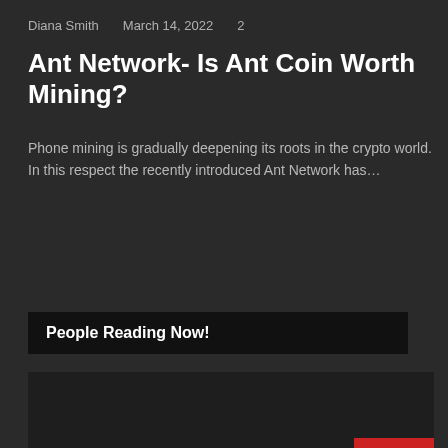Diana Smith   March 14, 2022   2
Ant Network- Is Ant Coin Worth Mining?
Phone mining is gradually deepening its roots in the crypto world. In this respect the recently introduced Ant Network has…
Read More »
People Reading Now!
[Figure (photo): Dark placeholder image area at bottom of page]